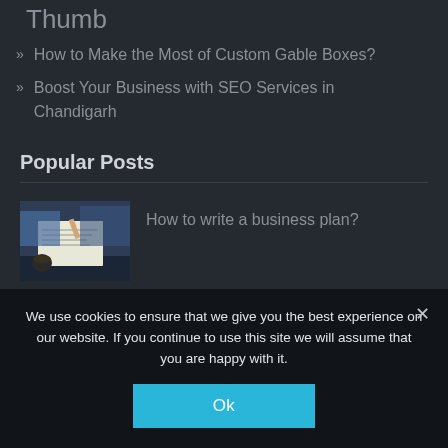Thumb
How to Make the Most of Custom Gable Boxes?
Boost Your Business with SEO Services in Chandigarh
Popular Posts
[Figure (photo): Person writing a business plan at a desk with coffee cup]
How to write a business plan?
[Figure (screenshot): TLS 1.0 Not Supported banner graphic with blue padlock icons]
No Longer Support for TLS 1.0
We use cookies to ensure that we give you the best experience on our website. If you continue to use this site we will assume that you are happy with it.